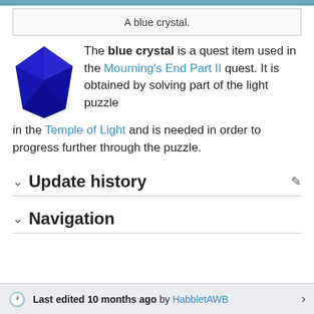A blue crystal.
[Figure (illustration): A blue crystal gem icon in diamond/pentagon shape, dark blue color.]
The blue crystal is a quest item used in the Mourning's End Part II quest. It is obtained by solving part of the light puzzle in the Temple of Light and is needed in order to progress further through the puzzle.
Update history
Navigation
Last edited 10 months ago by HabbletAWB